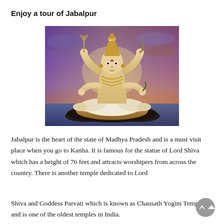Enjoy a tour of Jabalpur
[Figure (photo): Large statue of Lord Shiva seated in meditation pose on a lotus pedestal, with a sunset sky background featuring purple and orange hues. The statue has four arms holding a trident and a snake.]
Jabalpur is the heart of the state of Madhya Pradesh and is a must visit place when you go to Kanha. It is famous for the statue of Lord Shiva which has a height of 76 feet and attracts worshipers from across the country. There is another temple dedicated to Lord
Shiva and Goddess Parvati which is known as Chausath Yogini Temple and is one of the oldest temples in India.